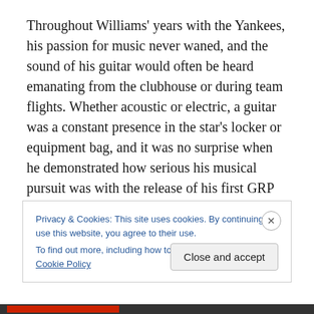Throughout Williams' years with the Yankees, his passion for music never waned, and the sound of his guitar would often be heard emanating from the clubhouse or during team flights. Whether acoustic or electric, a guitar was a constant presence in the star's locker or equipment bag, and it was no surprise when he demonstrated how serious his musical pursuit was with the release of his first GRP
Privacy & Cookies: This site uses cookies. By continuing to use this website, you agree to their use.
To find out more, including how to control cookies, see here: Cookie Policy